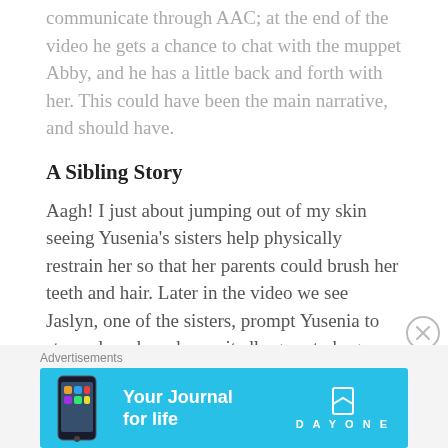muppet, it's very touching. Thomas has the ability to communicate through AAC; at the end of the video he gets a chance to chat with the muppet Abby, and he has a little back and forth with her. This could have been the main narrative, and should have.
A Sibling Story
Aagh! I just about jumping out of my skin seeing Yusenia's sisters help physically restrain her so that her parents could brush her teeth and hair. Later in the video we see Jaslyn, one of the sisters, prompt Yusenia to stay calm when she excitedly goes to hug Abby the muppet. This video was aimed at kids but I would never it show it to mine, or really, anyone.
Advertisements
[Figure (illustration): Advertisement banner for Day One journal app on a blue background. Shows a phone image on the left, 'Your Journal for life' text in the center, and the Day One logo on the right.]